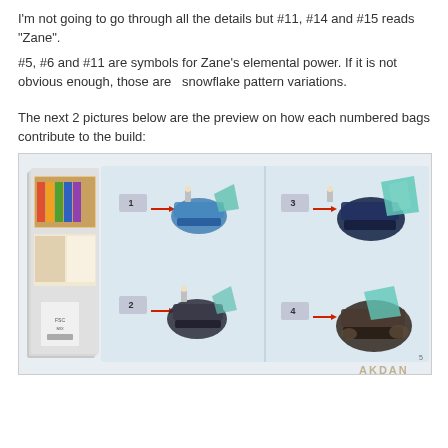I'm not going to go through all the details but #11, #14 and #15 reads "Zane".
#5, #6 and #11 are symbols for Zane's elemental power. If it is not obvious enough, those are  snowflake pattern variations.
The next 2 pictures below are the preview on how each numbered bags contribute to the build:
[Figure (photo): Photo of an open LEGO instruction booklet showing 4 numbered bag build stages (1, 2, 3, 4) with arrows showing parts contributing to a blue/teal vehicle build. The booklet spine is visible on the left with stacked pages.]